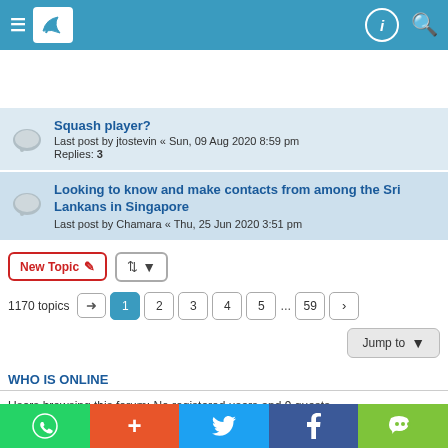Forum navigation header with logo and search
Squash player? Last post by jtostevin « Sun, 09 Aug 2020 8:59 pm Replies: 3
Looking to know and make contacts from among the Sri Lankans in Singapore Last post by Chamara « Thu, 25 Jun 2020 3:51 pm
New Topic
1170 topics  1 2 3 4 5 ... 59
Jump to
WHO IS ONLINE
Users browsing this forum: No registered users and 9 guests
Social share bar: WhatsApp, Plus, Twitter, Facebook, WeChat